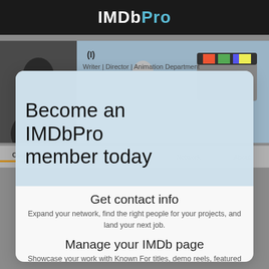[Figure (screenshot): IMDbPro website screenshot showing a profile page with a modal overlay prompting users to become an IMDbPro member. The modal highlights features: Get contact info, Manage your IMDb page, and Access exclusive content.]
Become an IMDbPro member today
Get contact info
Expand your network, find the right people for your projects, and land your next job.
Manage your IMDb page
Showcase your work with Known For titles, demo reels, featured images, and more.
Access exclusive content
Explore in-development titles, box office data, and industry rankings not available on IMDb.